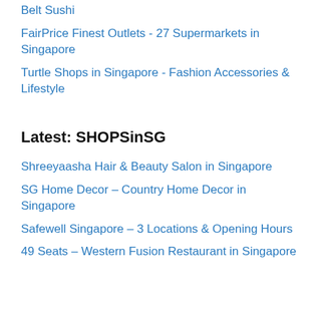Belt Sushi
FairPrice Finest Outlets - 27 Supermarkets in Singapore
Turtle Shops in Singapore - Fashion Accessories & Lifestyle
Latest: SHOPSinSG
Shreeyaasha Hair & Beauty Salon in Singapore
SG Home Decor – Country Home Decor in Singapore
Safewell Singapore – 3 Locations & Opening Hours
49 Seats – Western Fusion Restaurant in Singapore